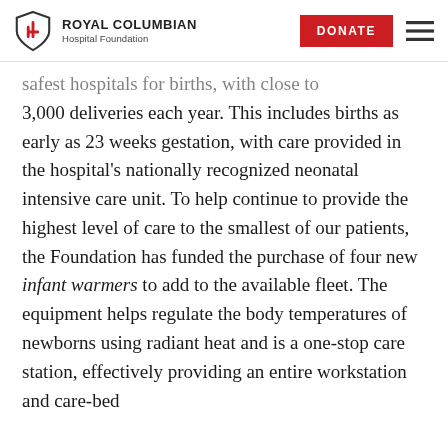Royal Columbian Hospital Foundation | DONATE
safest hospitals for births, with close to 3,000 deliveries each year. This includes births as early as 23 weeks gestation, with care provided in the hospital's nationally recognized neonatal intensive care unit. To help continue to provide the highest level of care to the smallest of our patients, the Foundation has funded the purchase of four new infant warmers to add to the available fleet. The equipment helps regulate the body temperatures of newborns using radiant heat and is a one-stop care station, effectively providing an entire workstation and care-bed